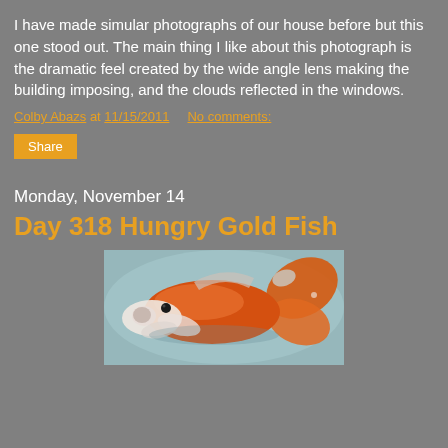I have made simular photographs of our house before but this one stood out. The main thing I like about this photograph is the dramatic feel created by the wide angle lens making the building imposing, and the clouds reflected in the windows.
Colby Abazs at 11/15/2011   No comments:
Share
Monday, November 14
Day 318 Hungry Gold Fish
[Figure (photo): A close-up photograph of a red/orange goldfish swimming, with its mouth open, against a blurred blue-green background.]